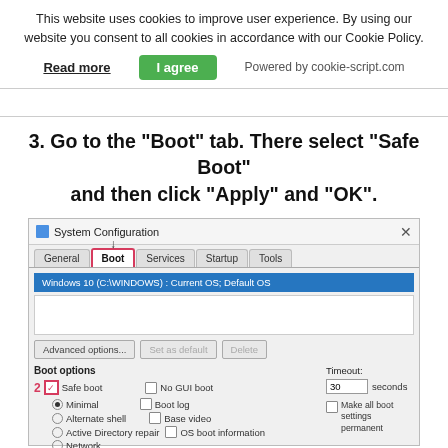This website uses cookies to improve user experience. By using our website you consent to all cookies in accordance with our Cookie Policy.
Read more   I agree   Powered by cookie-script.com
3. Go to the "Boot" tab. There select "Safe Boot" and then click "Apply" and "OK".
[Figure (screenshot): System Configuration dialog window showing Boot tab selected (highlighted with pink border), Windows 10 (C:\WINDOWS) : Current OS; Default OS selected in blue, Boot options section with Safe boot checkbox (checked, marked with step 2 badge), Minimal radio selected, Alternate shell, Active Directory repair, Network radio options, No GUI boot, Boot log, Base video, OS boot information checkboxes, Timeout set to 30 seconds, Make all boot settings permanent checkbox, Advanced options, Set as default, Delete buttons.]